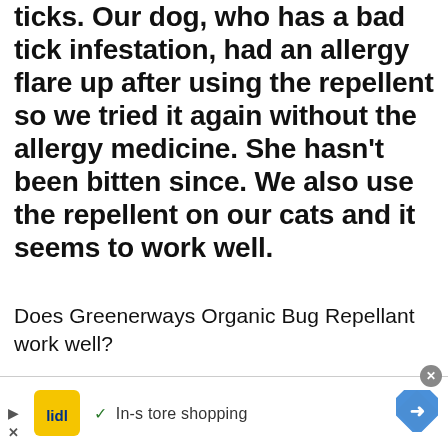ticks. Our dog, who has a bad tick infestation, had an allergy flare up after using the repellent so we tried it again without the allergy medicine. She hasn't been bitten since. We also use the repellent on our cats and it seems to work well.
Does Greenerways Organic Bug Repellant work well?
(partial answer text, clipped)
[Figure (other): Lidl advertisement banner with logo, checkmark, 'In-store shopping' text, and navigation arrow icon. Close button (x) in top right corner.]